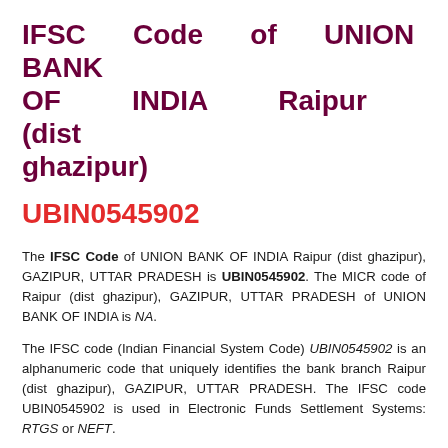IFSC Code of UNION BANK OF INDIA Raipur (dist ghazipur)
UBIN0545902
The IFSC Code of UNION BANK OF INDIA Raipur (dist ghazipur), GAZIPUR, UTTAR PRADESH is UBIN0545902. The MICR code of Raipur (dist ghazipur), GAZIPUR, UTTAR PRADESH of UNION BANK OF INDIA is NA.
The IFSC code (Indian Financial System Code) UBIN0545902 is an alphanumeric code that uniquely identifies the bank branch Raipur (dist ghazipur), GAZIPUR, UTTAR PRADESH. The IFSC code UBIN0545902 is used in Electronic Funds Settlement Systems: RTGS or NEFT.
The full address of UNION BANK OF INDIA Raipur (dist ghazipur),